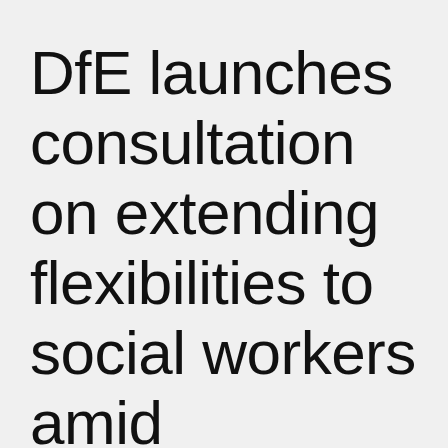DfE launches consultation on extending flexibilities to social workers amid pandemic